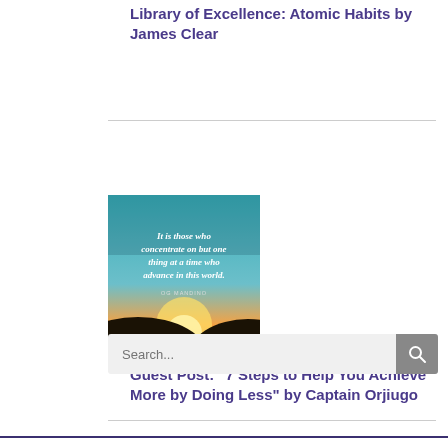Library of Excellence: Atomic Habits by James Clear
[Figure (photo): Motivational quote image with sunset background: 'It is those who concentrate on but one thing at a time who advance in this world.']
Guest Post: "7 Steps to Help You Achieve More by Doing Less" by Captain Orjiugo